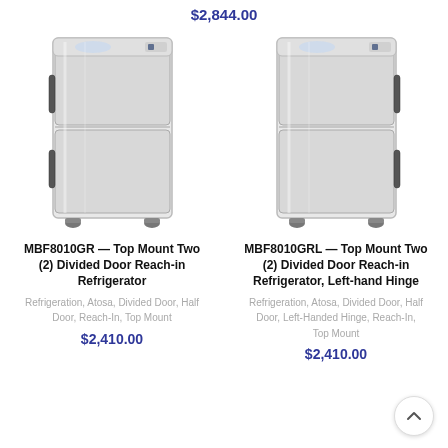$2,844.00
[Figure (photo): Stainless steel top-mount two divided door reach-in refrigerator, MBF8010GR, with two half doors and casters]
MBF8010GR — Top Mount Two (2) Divided Door Reach-in Refrigerator
Refrigeration, Atosa, Divided Door, Half Door, Reach-In, Top Mount
$2,410.00
[Figure (photo): Stainless steel top-mount two divided door reach-in refrigerator with left-hand hinge, MBF8010GRL, with two half doors and casters]
MBF8010GRL — Top Mount Two (2) Divided Door Reach-in Refrigerator, Left-hand Hinge
Refrigeration, Atosa, Divided Door, Half Door, Left-Handed Hinge, Reach-In, Top Mount
$2,410.00